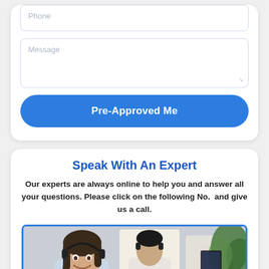[Figure (screenshot): Phone input field (partially visible at top)]
[Figure (screenshot): Message textarea input field with resize handle]
Pre-Approved Me
Speak With An Expert
Our experts are always online to help you and answer all your questions. Please click on the following No.  and give us a call.
[Figure (photo): Photo of a smiling woman with headset (call center agent) and a man with headset in background, with a plant on the right]